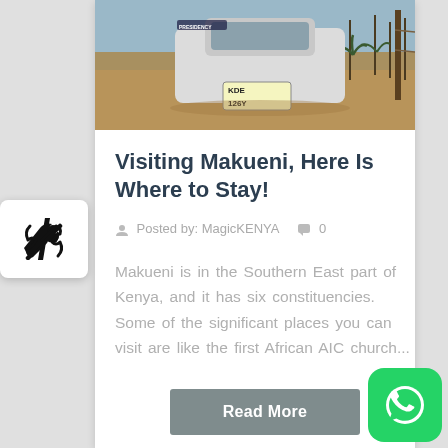[Figure (photo): Photo of a car (license plate KDE 126Y, with PRESIDENCY text visible) in an arid landscape with dry vegetation and blue sky]
Visiting Makueni, Here Is Where to Stay!
Posted by: MagicKENYA   0
Makueni is in the Southern East part of Kenya, and it has six constituencies. Some of the significant places you can visit are like the first African AIC church...
Read More